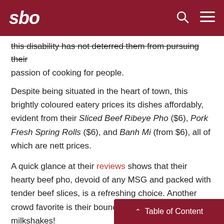sbo
this disability has not deterred them from pursuing their passion of cooking for people.
Despite being situated in the heart of town, this brightly coloured eatery prices its dishes affordably, evident from their Sliced Beef Ribeye Pho ($6), Pork Fresh Spring Rolls ($6), and Banh Mi (from $6), all of which are nett prices.
A quick glance at their reviews shows that their hearty beef pho, devoid of any MSG and packed with tender beef slices, is a refreshing choice. Another crowd favorite is their bouncy beef balls and fresh milkshakes!
5. Sandwich Saigon